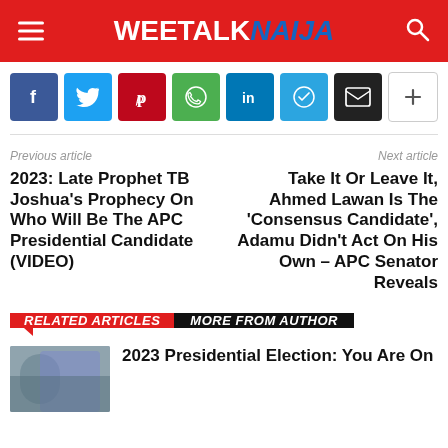WEETALKNAIJA
[Figure (infographic): Social share buttons row: Facebook, Twitter, Pinterest, WhatsApp, LinkedIn, Telegram, Email, Plus]
Previous article
Next article
2023: Late Prophet TB Joshua's Prophecy On Who Will Be The APC Presidential Candidate (VIDEO)
Take It Or Leave It, Ahmed Lawan Is The 'Consensus Candidate', Adamu Didn't Act On His Own – APC Senator Reveals
RELATED ARTICLES MORE FROM AUTHOR
2023 Presidential Election: You Are On